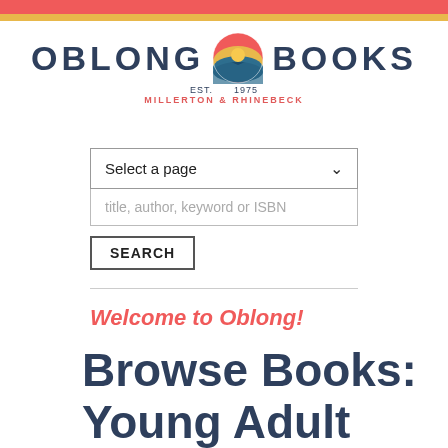[Figure (logo): Oblong Books logo with circular sunset/landscape icon between the words OBLONG and BOOKS, with EST. 1975 and MILLERTON & RHINEBECK below]
Select a page
title, author, keyword or ISBN
SEARCH
Welcome to Oblong!
Browse Books: Young Adult Fiction /